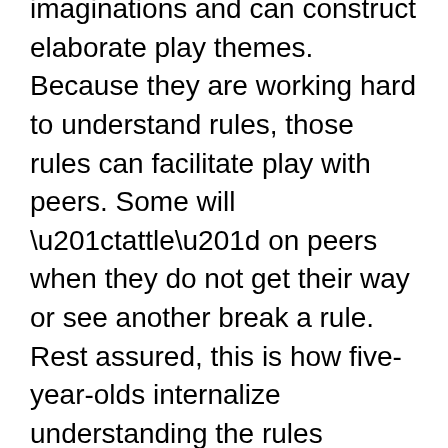imaginations and can construct elaborate play themes. Because they are working hard to understand rules, those rules can facilitate play with peers. Some will “tattle” on peers when they do not get their way or see another break a rule. Rest assured, this is how five-year-olds internalize understanding the rules themselves — by attempting to enforce them with others. Five year olds may struggle with turn-taking and get into conflicts over toys. With limited attention spans, conflicts also tend not to last long.
Six-year-olds can be ambitious and thrive on encouragement. They can be highly competitive with peers, which can lead them into dishonesty, bossyness, and becoming